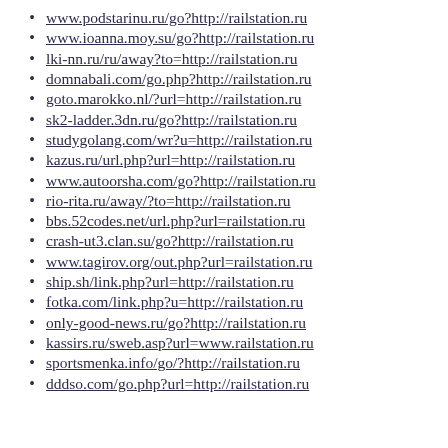www.podstarinu.ru/go?http://railstation.ru
www.ioanna.moy.su/go?http://railstation.ru
lki-nn.ru/ru/away?to=http://railstation.ru
domnabali.com/go.php?http://railstation.ru
goto.marokko.nl/?url=http://railstation.ru
sk2-ladder.3dn.ru/go?http://railstation.ru
studygolang.com/wr?u=http://railstation.ru
kazus.ru/url.php?url=http://railstation.ru
www.autoorsha.com/go?http://railstation.ru
rio-rita.ru/away/?to=http://railstation.ru
bbs.52codes.net/url.php?url=railstation.ru
crash-ut3.clan.su/go?http://railstation.ru
www.tagirov.org/out.php?url=railstation.ru
ship.sh/link.php?url=http://railstation.ru
fotka.com/link.php?u=http://railstation.ru
only-good-news.ru/go?http://railstation.ru
kassirs.ru/sweb.asp?url=www.railstation.ru
sportsmenka.info/go/?http://railstation.ru
dddso.com/go.php?url=http://railstation.ru